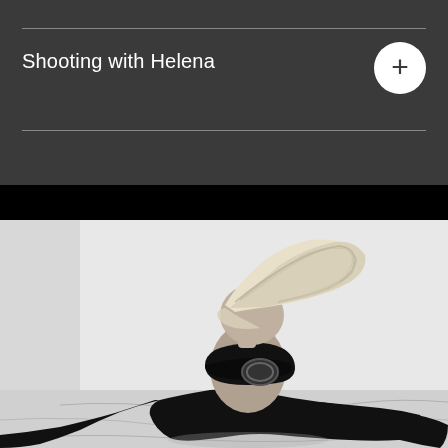Shooting with Helena
[Figure (photo): Black and white photograph of a woman with long blonde hair tossed over her face, sitting cross-legged on a bed or surface, wearing a black outfit with a large belt buckle, against a white wall background.]